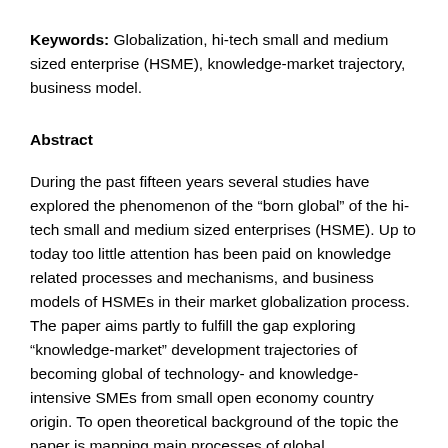Keywords: Globalization, hi-tech small and medium sized enterprise (HSME), knowledge-market trajectory, business model.
Abstract
During the past fifteen years several studies have explored the phenomenon of the “born global” of the hi-tech small and medium sized enterprises (HSME). Up to today too little attention has been paid on knowledge related processes and mechanisms, and business models of HSMEs in their market globalization process. The paper aims partly to fulfill the gap exploring “knowledge-market” development trajectories of becoming global of technology- and knowledge-intensive SMEs from small open economy country origin. To open theoretical background of the topic the paper is mapping main processes of global breakthrough as well as “knowledge-market” framework